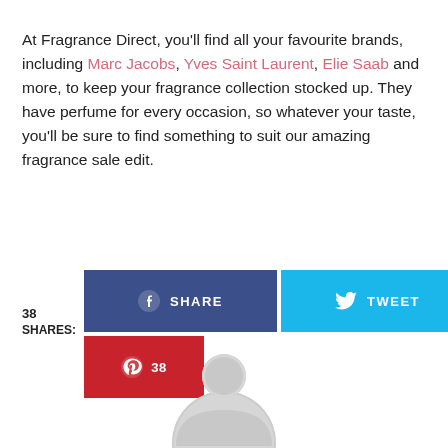At Fragrance Direct, you'll find all your favourite brands, including Marc Jacobs, Yves Saint Laurent, Elie Saab and more, to keep your fragrance collection stocked up. They have perfume for every occasion, so whatever your taste, you'll be sure to find something to suit our amazing fragrance sale edit.
[Figure (infographic): Social share buttons: Facebook Share button (dark blue), Twitter Tweet button (cyan blue), Pinterest button (red) with count 38. Left label shows '38 SHARES:']
[Figure (illustration): Grey circular user/avatar placeholder icon at the bottom center of the page]